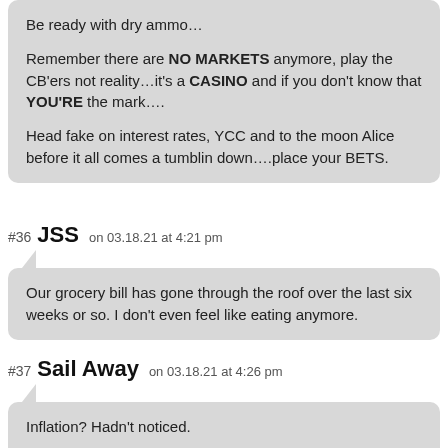Be ready with dry ammo…

Remember there are NO MARKETS anymore, play the CB'ers not reality…it's a CASINO and if you don't know that YOU'RE the mark….

Head fake on interest rates, YCC and to the moon Alice before it all comes a tumblin down….place your BETS.
#36  JSS  on 03.18.21 at 4:21 pm
Our grocery bill has gone through the roof over the last six weeks or so. I don't even feel like eating anymore.
#37  Sail Away  on 03.18.21 at 4:26 pm
Inflation? Hadn't noticed.

Big Macs are still the same price, as are Costco meals. Same with ammo. Really missing my weekly trap and skeet practice with the club closed.